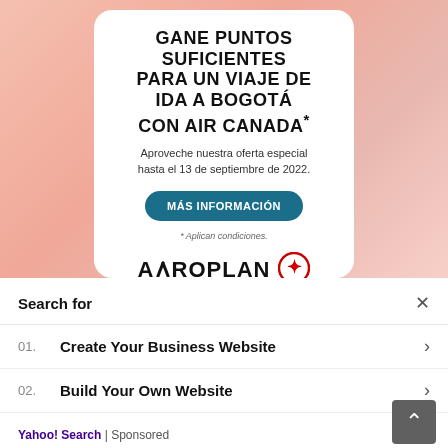[Figure (infographic): Aeroplan/Air Canada advertisement card with pink gradient background. White card contains bold Spanish headline, subtitle text, teal button, conditions note, and Aeroplan logo with maple leaf icon. Card has dark diagonal bottom bar.]
GANE PUNTOS SUFICIENTES PARA UN VIAJE DE IDA A BOGOTÁ CON AIR CANADA*
Aproveche nuestra oferta especial hasta el 13 de septiembre de 2022.
MÁS INFORMACIÓN
* Aplican condiciones.
AEROPLAN
Search for
01. Create Your Business Website
02. Build Your Own Website
Yahoo! Search | Sponsored